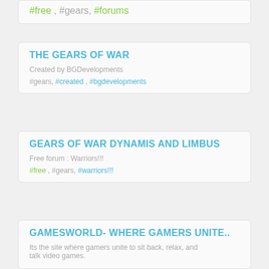#free , #gears, #forums
THE GEARS OF WAR
Created by BGDevelopments
#gears, #created , #bgdevelopments
GEARS OF WAR DYNAMIS AND LIMBUS
Free forum : Warriors!!!
#free , #gears, #warriors!!!
GAMESWORLD- WHERE GAMERS UNITE..
Its the site where gamers unite to sit back, relax, and talk video games.